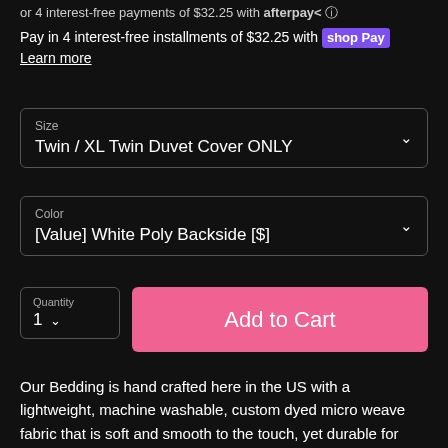or 4 interest-free payments of $32.25 with afterpay
Pay in 4 interest-free installments of $32.25 with shop Pay
Learn more
Size
Twin / XL Twin Duvet Cover ONLY
Color
[Value] White Poly Backside [$]
Quantity
1
Add to Cart
Our Bedding is hand crafted here in the US with a lightweight, machine washable, custom dyed micro weave fabric that is soft and smooth to the touch, yet durable for families with kids and pets.  All products are made to order.